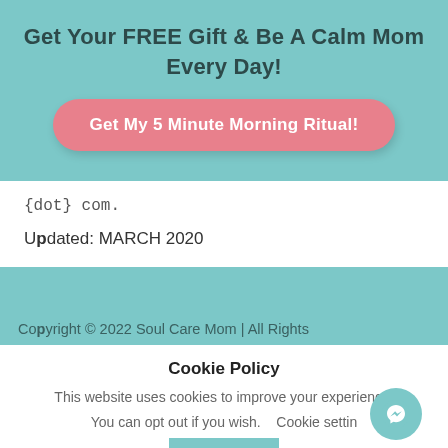Get Your FREE Gift & Be A Calm Mom Every Day!
[Figure (other): Pink rounded button with text 'Get My 5 Minute Morning Ritual!']
{dot} com.
Updated: MARCH 2020
Copyright © 2022 Soul Care Mom | All Rights
Cookie Policy
This website uses cookies to improve your experience. You can opt out if you wish.   Cookie settin
ACCEPT